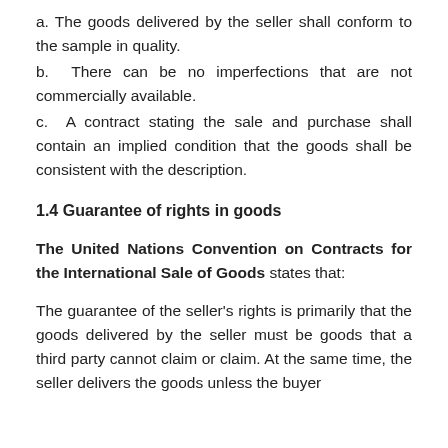a. The goods delivered by the seller shall conform to the sample in quality.
b. There can be no imperfections that are not commercially available.
c. A contract stating the sale and purchase shall contain an implied condition that the goods shall be consistent with the description.
1.4 Guarantee of rights in goods
The United Nations Convention on Contracts for the International Sale of Goods states that:
The guarantee of the seller's rights is primarily that the goods delivered by the seller must be goods that a third party cannot claim or claim. At the same time, the seller delivers the goods unless the buyer agrees to take them under such rights or claims. At the